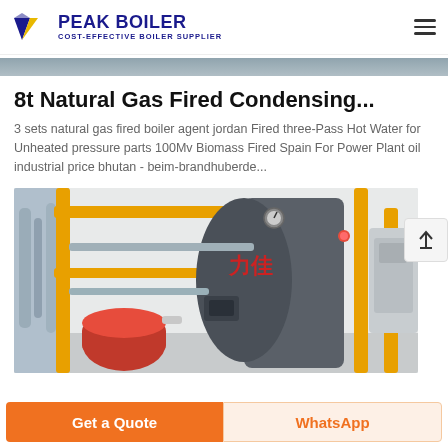PEAK BOILER - COST-EFFECTIVE BOILER SUPPLIER
8t Natural Gas Fired Condensing...
3 sets natural gas fired boiler agent jordan Fired three-Pass Hot Water for Unheated pressure parts 100Mv Biomass Fired Spain For Power Plant oil industrial price bhutan - beim-brandhuberde...
[Figure (photo): Industrial natural gas fired condensing boiler with yellow pipes, pressure gauges, and red compressor unit inside a boiler room facility]
Get a Quote | WhatsApp